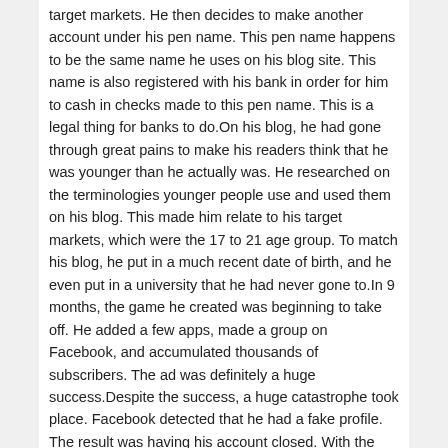target markets. He then decides to make another account under his pen name. This pen name happens to be the same name he uses on his blog site. This name is also registered with his bank in order for him to cash in checks made to this pen name. This is a legal thing for banks to do.On his blog, he had gone through great pains to make his readers think that he was younger than he actually was. He researched on the terminologies younger people use and used them on his blog. This made him relate to his target markets, which were the 17 to 21 age group. To match his blog, he put in a much recent date of birth, and he even put in a university that he had never gone to.In 9 months, the game he created was beginning to take off. He added a few apps, made a group on Facebook, and accumulated thousands of subscribers. The ad was definitely a huge success.Despite the success, a huge catastrophe took place. Facebook detected that he had a fake profile. The result was having his account closed. With the account closed, the ad was discontinued as well. When this happened, all of his subscribers, data, and apps disappeared as well.Hank couldn't do anything about it. The only thing he could do was to realise...